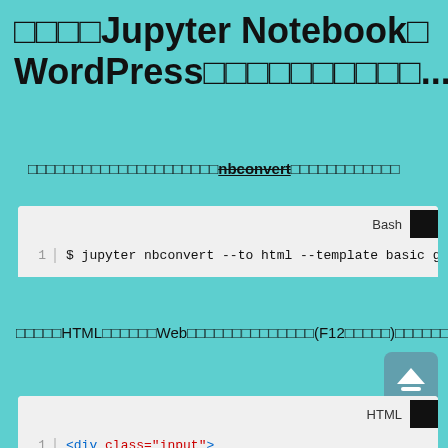□□□□Jupyter Notebook□WordPress□□□□□□□□□□.....
□□□□□□□□□□□□□□□□□□□□□nbconvert□□□□□□□□□□□□
[Figure (screenshot): Code block showing bash command: $ jupyter nbconvert --to html --template basic gstore-cust-reven]
□□□□□HTML□□□□□□Web□□□□□□□□□□□□□□(F12□□□□□)□□□□□□WordPress□□□□□HTML□□□□□□□□□□□□
[Figure (screenshot): Code block showing HTML: <div class="input">]